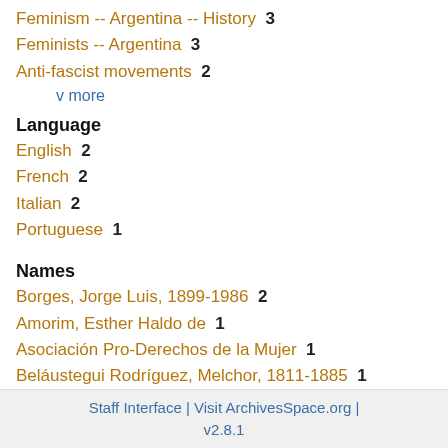Feminism -- Argentina -- History 3
Feminists -- Argentina 3
Anti-fascist movements 2
v more
Language
English 2
French 2
Italian 2
Portuguese 1
Names
Borges, Jorge Luis, 1899-1986 2
Amorim, Esther Haldo de 1
Asociación Pro-Derechos de la Mujer 1
Beláustegui Rodríguez, Melchor, 1811-1885 1
Beláustegui-Bustamante Family 1
v more
Staff Interface | Visit ArchivesSpace.org | v2.8.1